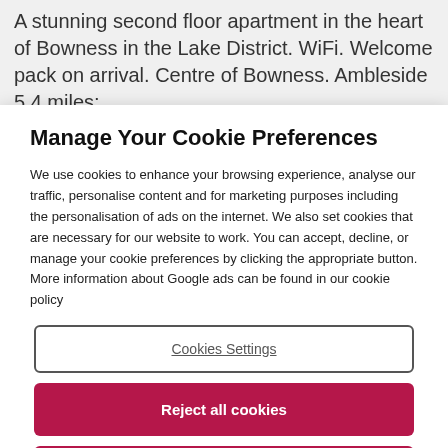A stunning second floor apartment in the heart of Bowness in the Lake District. WiFi. Welcome pack on arrival. Centre of Bowness. Ambleside 5.4 miles;
Manage Your Cookie Preferences
We use cookies to enhance your browsing experience, analyse our traffic, personalise content and for marketing purposes including the personalisation of ads on the internet. We also set cookies that are necessary for our website to work. You can accept, decline, or manage your cookie preferences by clicking the appropriate button. More information about Google ads can be found in our cookie policy
Cookies Settings
Reject all cookies
Accept all cookies